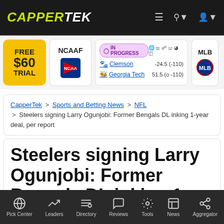CAPPERTEK
[Figure (screenshot): CapperTek navigation bar with logo, hamburger menu, search and user icons]
[Figure (infographic): Ticker bar with FREE $60 TRIAL box, NCAAF card with NCAA logo, IN PROGRESS game card showing Clemson -24.5 (-110) and Georgia Tech 51.5 (o-110), and partial MLB card]
CapperTek > Sports and Betting News > NFL > Steelers signing Larry Ogunjobi: Former Bengals DL inking 1-year deal, per report
Steelers signing Larry Ogunjobi: Former Bengals DL inking 1-year deal, per report
Pick Center | Leaders | Directory | Reviews | Tools | News | Aggregator